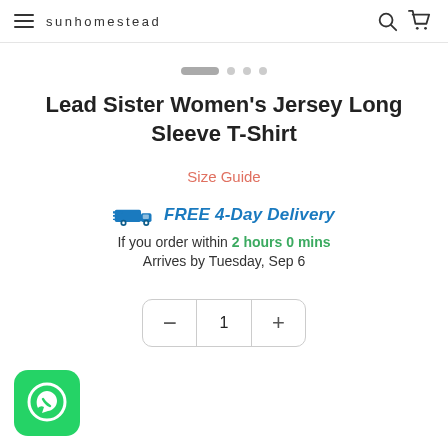sunhomestead
[Figure (other): Carousel position indicator dots — one active pill dot followed by three smaller round dots]
Lead Sister Women's Jersey Long Sleeve T-Shirt
Size Guide
FREE 4-Day Delivery
If you order within 2 hours 0 mins
Arrives by Tuesday, Sep 6
[Figure (other): Quantity selector with minus button, number 1, and plus button in a rounded rectangle border]
[Figure (other): WhatsApp green app icon in bottom left corner]